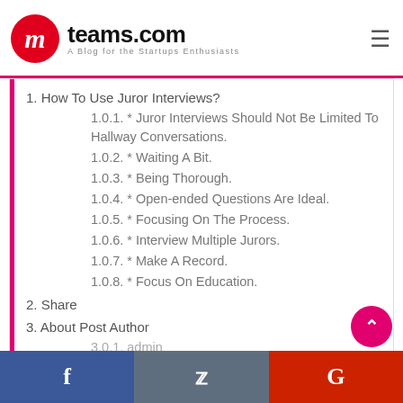mteams.com — A Blog for the Startups Enthusiasts
1. How To Use Juror Interviews?
1.0.1. * Juror Interviews Should Not Be Limited To Hallway Conversations.
1.0.2. * Waiting A Bit.
1.0.3. * Being Thorough.
1.0.4. * Open-ended Questions Are Ideal.
1.0.5. * Focusing On The Process.
1.0.6. * Interview Multiple Jurors.
1.0.7. * Make A Record.
1.0.8. * Focus On Education.
2. Share
3. About Post Author
3.0.1. admin
Facebook | Twitter | Google+